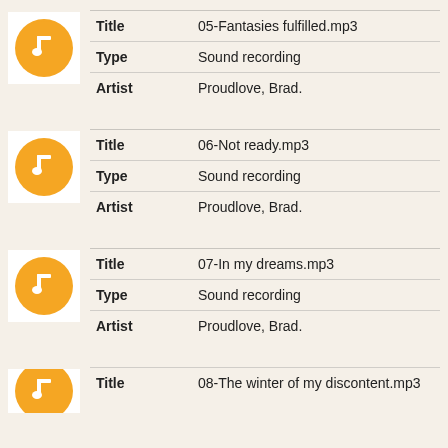| Field | Value |
| --- | --- |
| Title | 05-Fantasies fulfilled.mp3 |
| Type | Sound recording |
| Artist | Proudlove, Brad. |
| Field | Value |
| --- | --- |
| Title | 06-Not ready.mp3 |
| Type | Sound recording |
| Artist | Proudlove, Brad. |
| Field | Value |
| --- | --- |
| Title | 07-In my dreams.mp3 |
| Type | Sound recording |
| Artist | Proudlove, Brad. |
| Field | Value |
| --- | --- |
| Title | 08-The winter of my discontent.mp3 |